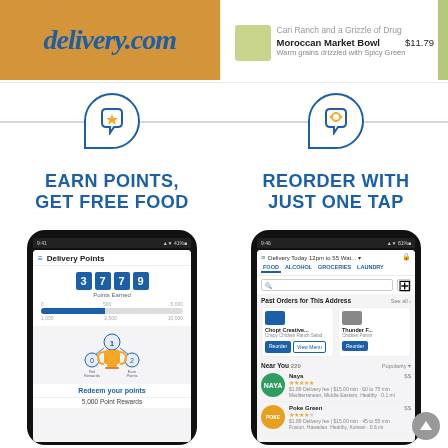[Figure (screenshot): Top-left: delivery.com logo on brown background]
[Figure (screenshot): Top-right: food menu item 'Moroccan Market Bowl' at $11.79, Warm grains drizzled with Spicy Green]
[Figure (infographic): Icon: chat bubble with gold star — Earn Points feature icon]
[Figure (infographic): Icon: chat bubble with refresh arrows — Reorder with Just One Tap feature icon]
EARN POINTS, GET FREE FOOD
REORDER WITH JUST ONE TAP
[Figure (screenshot): Mobile app screenshot: Delivery Points screen showing score 3779, progress bar, trophy graphic, Redeem your points, 5,000 Point Rewards]
[Figure (screenshot): Mobile app screenshot: Reorder screen showing Past Orders with Chopt Creative and Thunder F restaurants, Reorder/View Menu buttons, Near You 220 with Naya and Poke Green listings]